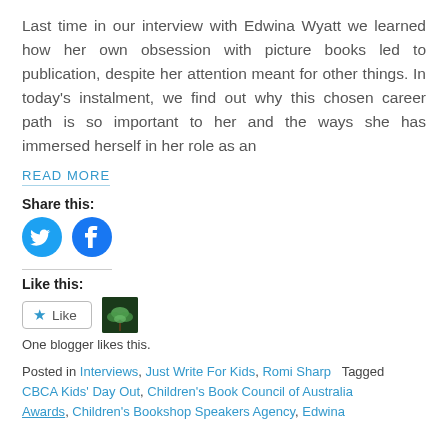Last time in our interview with Edwina Wyatt we learned how her own obsession with picture books led to publication, despite her attention meant for other things. In today's instalment, we find out why this chosen career path is so important to her and the ways she has immersed herself in her role as an
READ MORE
Share this:
[Figure (illustration): Twitter bird icon blue circle]
[Figure (illustration): Facebook f icon blue circle]
Like this:
[Figure (illustration): Like button with star and blogger avatar thumbnail]
One blogger likes this.
Posted in Interviews, Just Write For Kids, Romi Sharp   Tagged CBCA Kids' Day Out, Children's Book Council of Australia Awards, Children's Bookshop Speakers Agency, Edwina